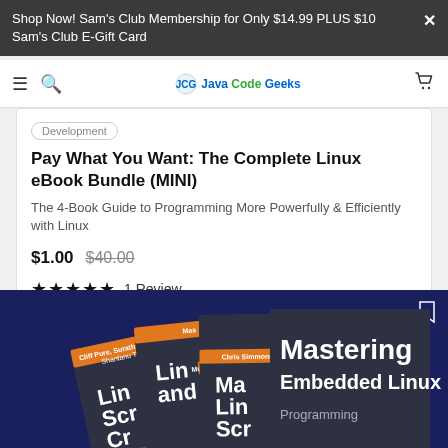Shop Now! Sam's Club Membership for Only $14.99 PLUS $10 Sam's Club E-Gift Card
Java Code Geeks — navigation bar
Development
Pay What You Want: The Complete Linux eBook Bundle (MINI)
The 4-Book Guide to Programming More Powerfully & Efficiently with Linux
$1.00  $40.00  ★★★★★  1 Review
[Figure (photo): Stack of Linux programming books displayed against a dark navy blue background, showing covers including 'Linux Shell Scripting and Commands', 'Mastering Linux Shell Scripting', and 'Mastering Embedded Linux' books fanned out.]